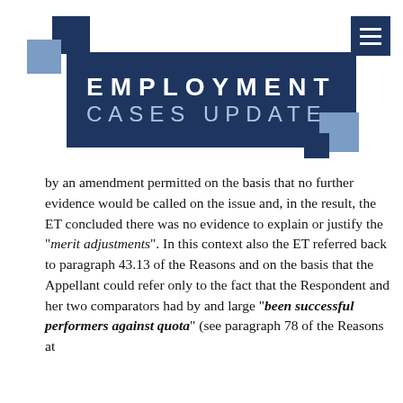[Figure (logo): Employment Cases Update masthead with dark navy banner reading 'EMPLOYMENT CASES UPDATE', decorative blue and navy squares top-left and bottom-right, and a hamburger menu icon top-right]
by an amendment permitted on the basis that no further evidence would be called on the issue and, in the result, the ET concluded there was no evidence to explain or justify the "merit adjustments". In this context also the ET referred back to paragraph 43.13 of the Reasons and on the basis that the Appellant could refer only to the fact that the Respondent and her two comparators had by and large "been successful performers against quota" (see paragraph 78 of the Reasons at